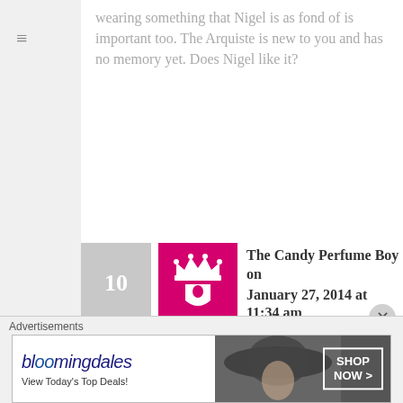wearing something that Nigel is as fond of is important too. The Arquiste is new to you and has no memory yet. Does Nigel like it?
The Candy Perfume Boy on January 27, 2014 at 11:34 am
This is where I'm coming from, I think. It will be nice to forge a new memory with a new scent.
The funny thing is that Nigel has sinus problems and can't smell things a lot of the time! He
[Figure (other): Advertisement banner for Bloomingdale's with 'View Today's Top Deals!' tagline and 'SHOP NOW >' button, with image of woman in wide-brimmed hat]